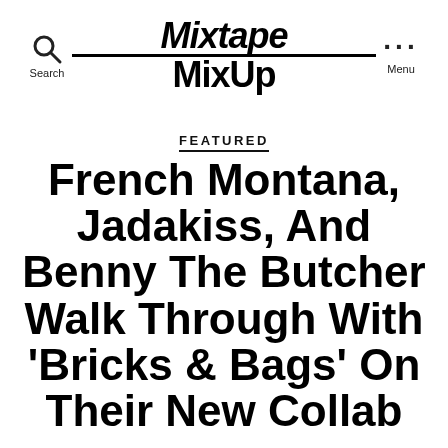Search | Mixtape MixUp | Menu
FEATURED
French Montana, Jadakiss, And Benny The Butcher Walk Through With 'Bricks & Bags' On Their New Collab